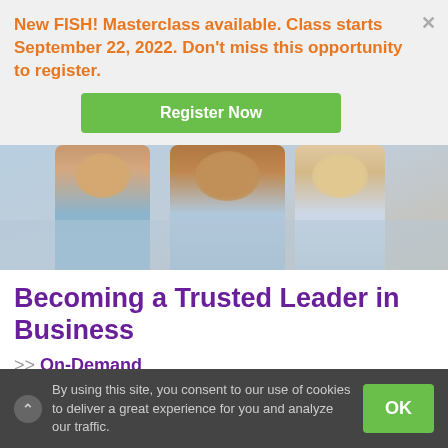New FISH! Masterclass available. Class starts September 22, 2022. Don't miss this opportunity to register.
Register Now
[Figure (photo): Photo of smiling people with arms around each other, dressed in business casual attire]
Becoming a Trusted Leader in Business
>> On-Demand
Join us as Suzie Heiam, Director of Cultural Engagement, ChartHouse Learning talks with Ken br Brandon CEO and Founder of
By using this site, you consent to our use of cookies to deliver a great experience for you and analyze our traffic.
OK